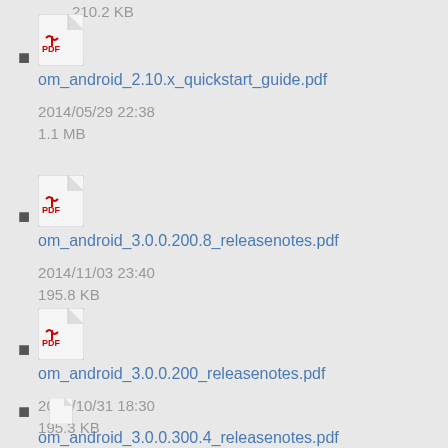210.2 KB
om_android_2.10.x_quickstart_guide.pdf
2014/05/29 22:38
1.1 MB
om_android_3.0.0.200.8_releasenotes.pdf
2014/11/03 23:40
195.8 KB
om_android_3.0.0.200_releasenotes.pdf
2014/10/31 18:30
195.3 KB
om_android_3.0.0.300.4_releasenotes.pdf